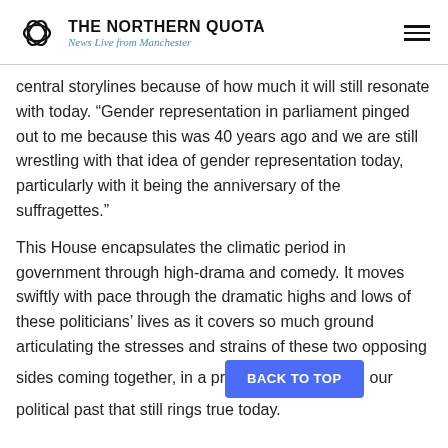THE NORTHERN QUOTA — News Live from Manchester
central storylines because of how much it will still resonate with today. “Gender representation in parliament pinged out to me because this was 40 years ago and we are still wrestling with that idea of gender representation today, particularly with it being the anniversary of the suffragettes.”
This House encapsulates the climatic period in government through high-drama and comedy. It moves swiftly with pace through the dramatic highs and lows of these politicians’ lives as it covers so much ground articulating the stresses and strains of these two opposing sides coming together, in a profound portrait of our political past that still rings true today.